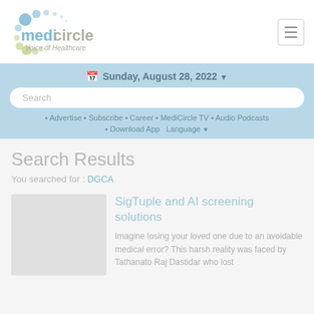[Figure (logo): Medicircle logo with text 'Voice of Healthcare']
Sunday, August 28, 2022
Search
• Advertise • Subscribe • Career • MediCircle TV • Audio Podcasts
• Download App  Language
Search Results
You searched for : DGCA
SigTuple and AI screening solutions
Imagine losing your loved one due to an avoidable medical error? This harsh reality was faced by Tathanato Raj Dastidar who lost